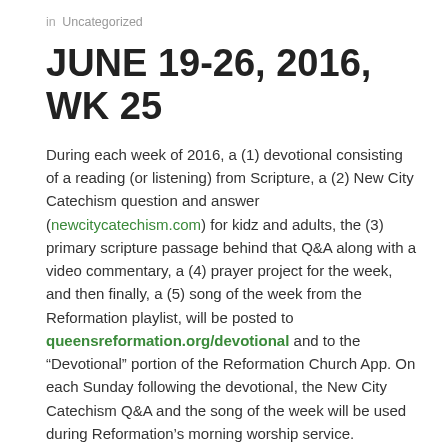in Uncategorized
JUNE 19-26, 2016, WK 25
During each week of 2016, a (1) devotional consisting of a reading (or listening) from Scripture, a (2) New City Catechism question and answer (newcitycatechism.com) for kidz and adults, the (3) primary scripture passage behind that Q&A along with a video commentary, a (4) prayer project for the week, and then finally, a (5) song of the week from the Reformation playlist, will be posted to queensreformation.org/devotional and to the “Devotional” portion of the Reformation Church App. On each Sunday following the devotional, the New City Catechism Q&A and the song of the week will be used during Reformation’s morning worship service.
READ
...to Bible Reading/Listening to the Reformation...